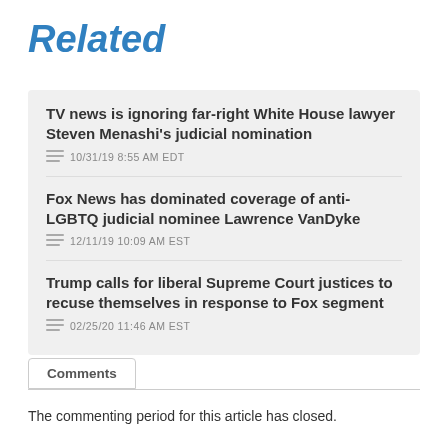Related
TV news is ignoring far-right White House lawyer Steven Menashi's judicial nomination
10/31/19 8:55 AM EDT
Fox News has dominated coverage of anti-LGBTQ judicial nominee Lawrence VanDyke
12/11/19 10:09 AM EST
Trump calls for liberal Supreme Court justices to recuse themselves in response to Fox segment
02/25/20 11:46 AM EST
Comments
The commenting period for this article has closed.